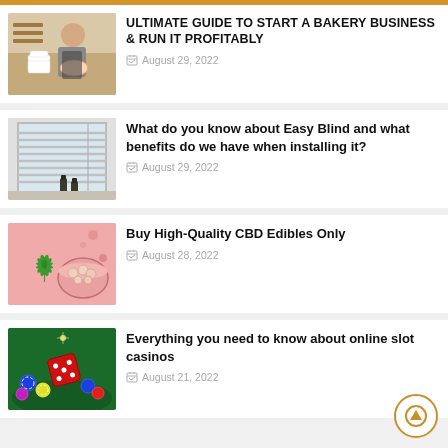[Figure (photo): Woman in apron holding a bowl, cakes in background (bakery theme)]
ULTIMATE GUIDE TO START A BAKERY BUSINESS & RUN IT PROFITABLY
August 29, 2022
[Figure (photo): Window with horizontal blinds and two dark bottles on a windowsill]
What do you know about Easy Blind and what benefits do we have when installing it?
August 29, 2022
[Figure (photo): Cannabis leaf and a bowl of edibles on pink background]
Buy High-Quality CBD Edibles Only
August 28, 2022
[Figure (photo): Red dice and casino chips on a green felt table]
Everything you need to know about online slot casinos
August 21, 2022